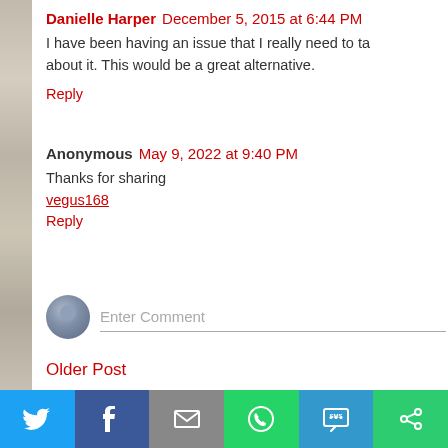Danielle Harper  December 5, 2015 at 6:44 PM
I have been having an issue that I really need to ta... about it. This would be a great alternative.
Reply
Anonymous  May 9, 2022 at 9:40 PM
Thanks for sharing
vegus168
Reply
Enter Comment
Older Post
[Figure (infographic): Social share bar with Twitter, Facebook, Email, WhatsApp, SMS, and copy-link buttons]